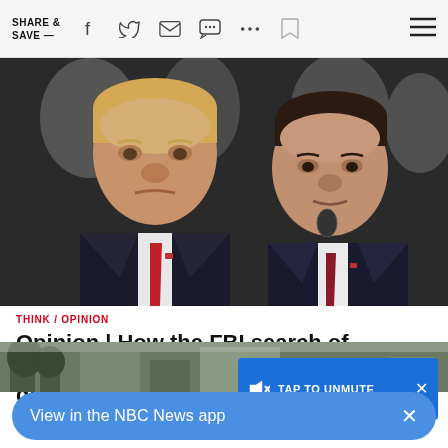SHARE & SAVE —
[Figure (photo): Photo of Donald Trump and Ron DeSantis side by side, both wearing dark suits and red ties. Trump is on the left looking stern, DeSantis is on the right speaking at a microphone.]
THINK / OPINION
Opinion | How the FBI search of Trump's Mar-a-Lago estate could be a gift to th
[Figure (screenshot): Blue TAP TO UNMUTE video overlay button with a muted speaker icon, with an X close button in the upper right corner.]
View in the NBC News app
[Figure (photo): Partial landscape photo at the bottom of the page, appears to show a building or estate in muted greens.]